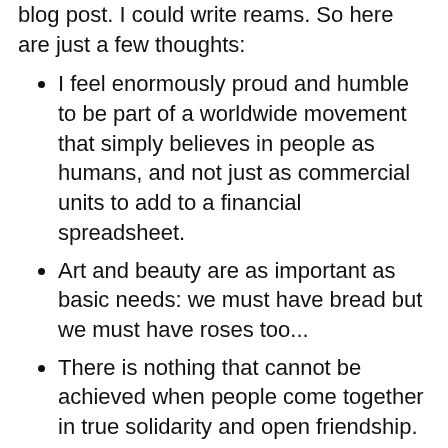blog post. I could write reams. So here are just a few thoughts:
I feel enormously proud and humble to be part of a worldwide movement that simply believes in people as humans, and not just as commercial units to add to a financial spreadsheet.
Art and beauty are as important as basic needs: we must have bread but we must have roses too...
There is nothing that cannot be achieved when people come together in true solidarity and open friendship.
While there will probably always be hate and prejudice, this will always be dwarfed by our capacity to reach out, find common cause and nurture love.
There are people who are intent upon building a world based on division and subtraction: but I believe there are many more of us who want a world based on multiplication and addition. (This